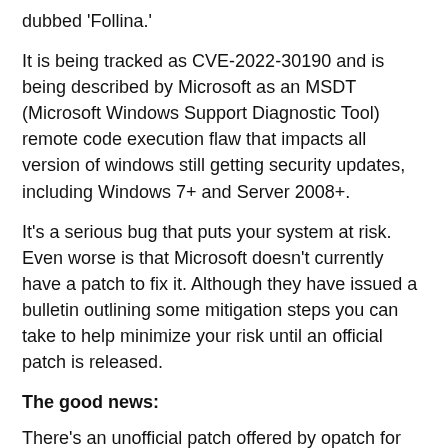dubbed 'Follina.'
It is being tracked as CVE-2022-30190 and is being described by Microsoft as an MSDT (Microsoft Windows Support Diagnostic Tool) remote code execution flaw that impacts all version of windows still getting security updates, including Windows 7+ and Server 2008+.
It's a serious bug that puts your system at risk. Even worse is that Microsoft doesn't currently have a patch to fix it. Although they have issued a bulletin outlining some mitigation steps you can take to help minimize your risk until an official patch is released.
The good news:
There's an unofficial patch offered by opatch for Windows 11, v 21H2, Windows 10 (versions 1803 through 21H2), Windows 7 and Windows Server 2008R2.
Microsoft's mitigation strategies advise disabling the